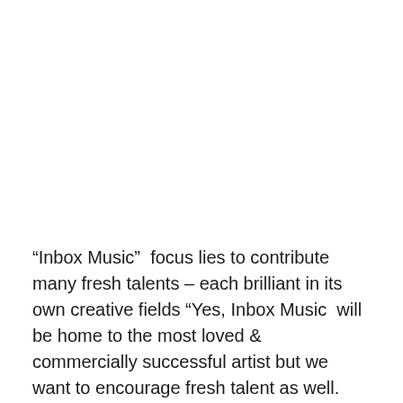“Inbox Music”  focus lies to contribute many fresh talents – each brilliant in its own creative fields “Yes, Inbox Music  will be home to the most loved & commercially successful artist but we want to encourage fresh talent as well. There are so much of  talent and artistes in the